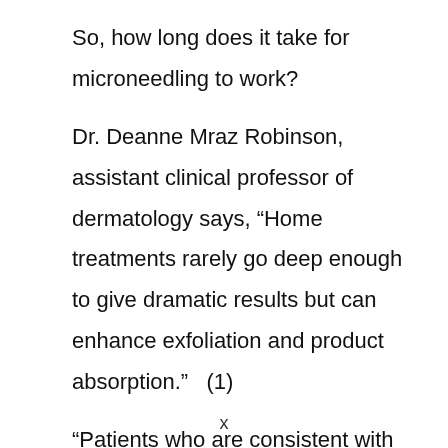So, how long does it take for microneedling to work?
Dr. Deanne Mraz Robinson, assistant clinical professor of dermatology says, “Home treatments rarely go deep enough to give dramatic results but can enhance exfoliation and product absorption.”   (1)
“Patients who are consistent with home treatments over a four to six-month period
x